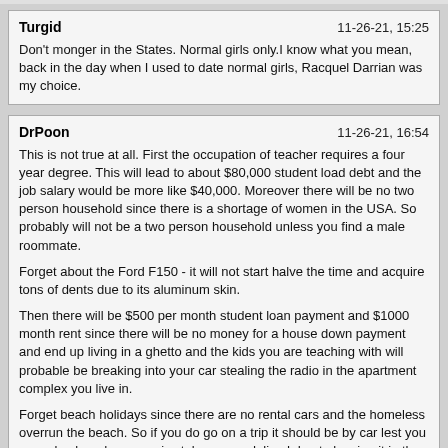Turgid | 11-26-21, 15:25 | Don't monger in the States. Normal girls only.I know what you mean, back in the day when I used to date normal girls, Racquel Darrian was my choice.
DrPoon | 11-26-21, 16:54 | This is not true at all. First the occupation of teacher requires a four year degree. This will lead to about $80,000 student load debt and the job salary would be more like $40,000. Moreover there will be no two person household since there is a shortage of women in the USA. So probably will not be a two person household unless you find a male roommate.

Forget about the Ford F150 - it will not start halve the time and acquire tons of dents due to its aluminum skin.

Then there will be $500 per month student loan payment and $1000 month rent since there will be no money for a house down payment and end up living in a ghetto and the kids you are teaching with will probable be breaking into your car stealing the radio in the apartment complex you live in.

Forget beach holidays since there are no rental cars and the homeless overrun the beach. So if you do go on a trip it should be by car lest you come back and your car is stolen or vandalized due to leaving it in the ghetto parking lot.

That is the reality of the USA. Doesn't matter what political party since the rich are exploiting the poor and keeping them oppressed.

You sure about all of that? Prior to covid, I worked in rural cities for several years and the quality of life was pretty good for many. The average American's not trying to get to millionaire status nor do they need to do so. Outside of New England and the west coast, you can live fairly adequately with a household income of 100 K per year. That's a household with 2 early-career teachers. Teacher plus nurse? That's a 125-150 K household. 2000 sq foot homes in...